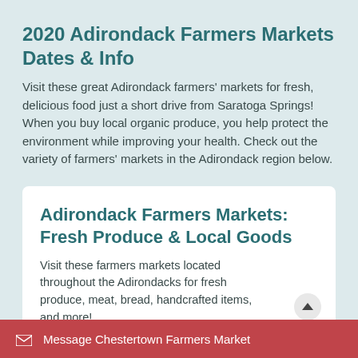2020 Adirondack Farmers Markets Dates & Info
Visit these great Adirondack farmers' markets for fresh, delicious food just a short drive from Saratoga Springs! When you buy local organic produce, you help protect the environment while improving your health. Check out the variety of farmers' markets in the Adirondack region below.
Adirondack Farmers Markets: Fresh Produce & Local Goods
Visit these farmers markets located throughout the Adirondacks for fresh produce, meat, bread, handcrafted items, and more!
Message Chestertown Farmers Market